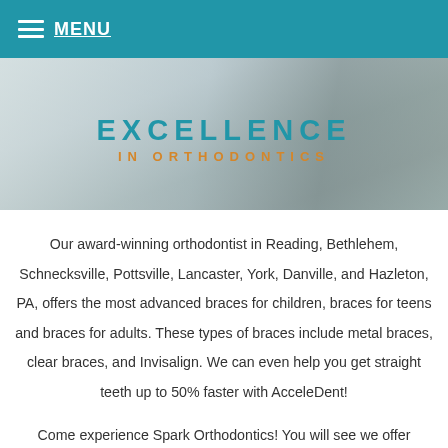MENU
[Figure (illustration): Hero banner with 'EXCELLENCE IN ORTHODONTICS' logo text over a blurred dental office background]
Our award-winning orthodontist in Reading, Bethlehem, Schnecksville, Pottsville, Lancaster, York, Danville, and Hazleton, PA, offers the most advanced braces for children, braces for teens and braces for adults. These types of braces include metal braces, clear braces, and Invisalign. We can even help you get straight teeth up to 50% faster with AcceleDent!
Come experience Spark Orthodontics! You will see we offer effective and affordable braces in Reading, Camp Hill, Harrisburg, Bethlehem, Schnecksville